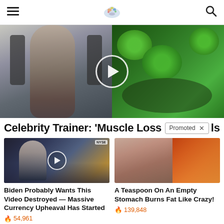Navigation header with hamburger menu, logo, and search icon
[Figure (photo): Split video thumbnail: left side shows shirtless muscular man at gym equipment, right side shows broccoli in a pan. White play button circle overlay in center.]
Celebrity Trainer: 'Muscle Loss I... ls
[Figure (photo): Biden probably wants this video destroyed - news studio scene with play button overlay]
Biden Probably Wants This Video Destroyed — Massive Currency Upheaval Has Started
54,961
[Figure (photo): A Teaspoon On An Empty Stomach - woman with abs next to spoon of spice/powder]
A Teaspoon On An Empty Stomach Burns Fat Like Crazy!
139,848